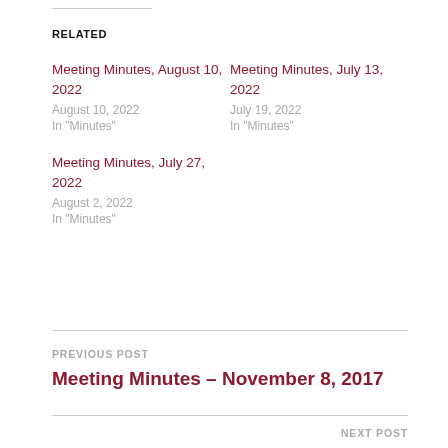RELATED
Meeting Minutes, August 10, 2022
August 10, 2022
In "Minutes"
Meeting Minutes, July 13, 2022
July 19, 2022
In "Minutes"
Meeting Minutes, July 27, 2022
August 2, 2022
In "Minutes"
PREVIOUS POST
Meeting Minutes – November 8, 2017
NEXT POST